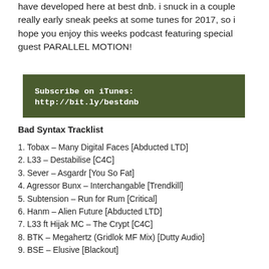have developed here at best dnb. i snuck in a couple really early sneak peeks at some tunes for 2017, so i hope you enjoy this weeks podcast featuring special guest PARALLEL MOTION!
Subscribe on iTunes: http://bit.ly/bestdnb
Bad Syntax Tracklist
1. Tobax – Many Digital Faces [Abducted LTD]
2. L33 – Destabilise [C4C]
3. Sever – Asgardr [You So Fat]
4. Agressor Bunx – Interchangable [Trendkill]
5. Subtension – Run for Rum [Critical]
6. Hanm – Alien Future [Abducted LTD]
7. L33 ft Hijak MC – The Crypt [C4C]
8. BTK – Megahertz (Gridlok MF Mix) [Dutty Audio]
9. BSE – Elusive [Blackout]